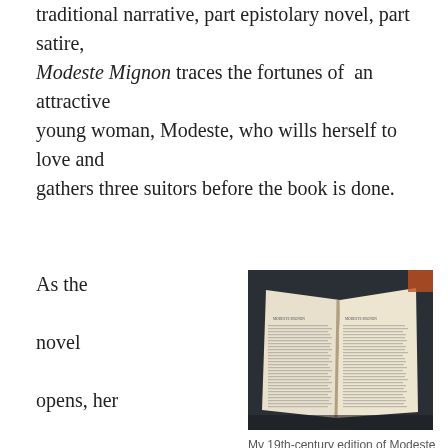traditional narrative, part epistolary novel, part satire, Modeste Mignon traces the fortunes of an attractive young woman, Modeste, who wills herself to love and gathers three suitors before the book is done.
As the novel opens, her father Charles Mignon is away at sea trying to recover
[Figure (photo): A photograph of an open book, a 19th-century edition of Modeste Mignon, showing two pages of dense text.]
My 19th-century edition of Modeste Mignon/